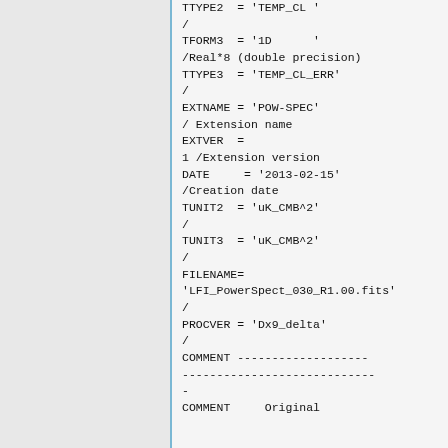TTYPE2  = 'TEMP_CL '
/
TFORM3  = '1D      '
/Real*8 (double precision)
TTYPE3  = 'TEMP_CL_ERR'
/
EXTNAME = 'POW-SPEC'
/ Extension name
EXTVER  =
1 /Extension version
DATE     = '2013-02-15'
/Creation date
TUNIT2  = 'uK_CMB^2'
/
TUNIT3  = 'uK_CMB^2'
/
FILENAME=
'LFI_PowerSpect_030_R1.00.fits'
/
PROCVER = 'Dx9_delta'
/
COMMENT -------------------
----------------------------
-
COMMENT     Original